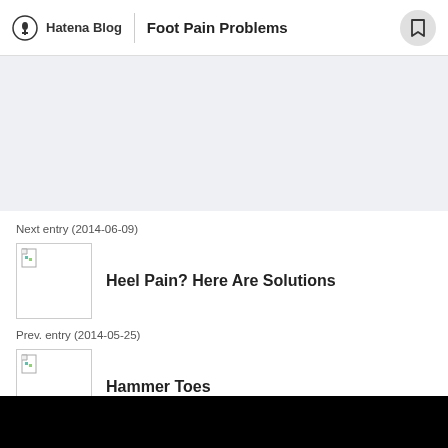Hatena Blog | Foot Pain Problems
[Figure (screenshot): Gray banner/advertisement area]
Next entry (2014-06-09)
[Figure (illustration): Thumbnail image placeholder for Heel Pain article]
Heel Pain? Here Are Solutions
Prev. entry (2014-05-25)
[Figure (illustration): Thumbnail image placeholder for Hammer Toes article]
Hammer Toes
Archive